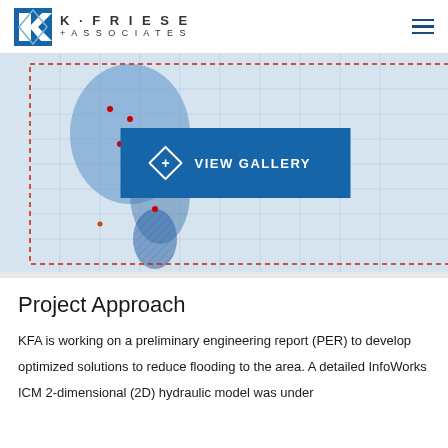K·FRIESE + ASSOCIATES
[Figure (map): City of Austin Guadalupe Storm Drain Improvements inundation map showing 500-year Ultimate flood depth in 2D hydraulic model with legend and title block. Overlay shows blue flood zones over street grid with red dashed boundary.]
Project Approach
KFA is working on a preliminary engineering report (PER) to develop optimized solutions to reduce flooding to the area. A detailed InfoWorks ICM 2-dimensional (2D) hydraulic model was under